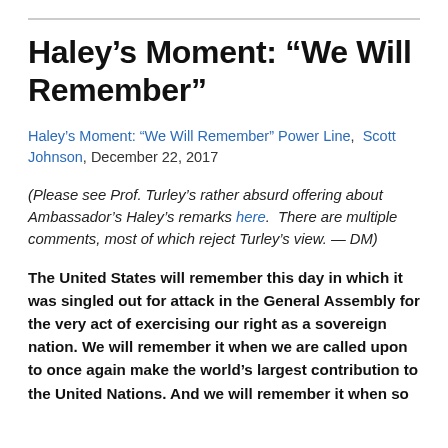Haley's Moment: “We Will Remember”
Haley’s Moment: “We Will Remember” Power Line,  Scott Johnson, December 22, 2017
(Please see Prof. Turley’s rather absurd offering about Ambassador’s Haley’s remarks here.  There are multiple comments, most of which reject Turley’s view. — DM)
The United States will remember this day in which it was singled out for attack in the General Assembly for the very act of exercising our right as a sovereign nation. We will remember it when we are called upon to once again make the world’s largest contribution to the United Nations. And we will remember it when so